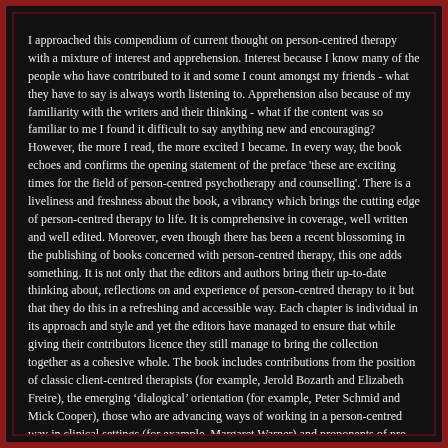I approached this compendium of current thought on person-centred therapy with a mixture of interest and apprehension. Interest because I know many of the people who have contributed to it and some I count amongst my friends - what they have to say is always worth listening to. Apprehension also because of my familiarity with the writers and their thinking - what if the content was so familiar to me I found it difficult to say anything new and encouraging? However, the more I read, the more excited I became. In every way, the book echoes and confirms the opening statement of the preface 'these are exciting times for the field of person-centred psychotherapy and counselling'. There is a liveliness and freshness about the book, a vibrancy which brings the cutting edge of person-centred therapy to life. It is comprehensive in coverage, well written and well edited. Moreover, even though there has been a recent blossoming in the publishing of books concerned with person-centred therapy, this one adds something. It is not only that the editors and authors bring their up-to-date thinking about, reflections on and experience of person-centred therapy to it but that they do this in a refreshing and accessible way. Each chapter is individual in its approach and style and yet the editors have managed to ensure that while giving their contributors licence they still manage to bring the collection together as a cohesive whole. The book includes contributions from the position of classic client-centred therapists (for example, Jerold Bozarth and Elizabeth Freire), the emerging 'dialogical' orientation (for example, Peter Schmid and Mick Cooper), those who are advancing ways of working in a person-centred way in clinical settings (for example, Margaret Warner) and proponents of pre-therapy (for example, Gary Prouty and Dion van Werde). There are also chapters addressing the interface with the medical model. What is